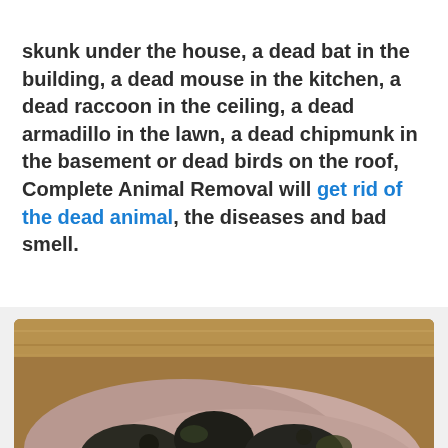skunk under the house, a dead bat in the building, a dead mouse in the kitchen, a dead raccoon in the ceiling, a dead armadillo in the lawn, a dead chipmunk in the basement or dead birds on the roof, Complete Animal Removal will get rid of the dead animal, the diseases and bad smell.
[Figure (photo): Close-up photo of decomposed animal remains showing dark moldy tissue on a light pinkish-grey background, placed on what appears to be a wooden floor surface. A circular grey call/phone button icon is visible in the bottom-right corner of the image.]